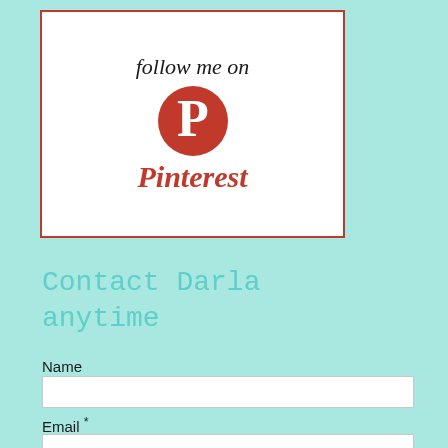[Figure (logo): Follow me on Pinterest badge with Pinterest logo (red circle with white P) and Pinterest wordmark in red cursive script, inside a white box with red border]
Contact Darla anytime
Name
Email *
Message *
8. Add greeting to the ca